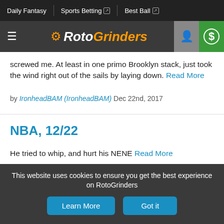Daily Fantasy | Sports Betting | Best Ball
[Figure (logo): RotoGrinders logo with hamburger menu, user icon, and dollar sign icon]
screwed me. At least in one primo Brooklyn stack, just took the wind right out of the sails by laying down. Read More
by IronheadBAM (IronheadBAM) Dec 22nd, 2017
NBA, 12/22
He tried to whip, and hurt his NENE Read More
by IronheadBAM (IronheadBAM) Dec 22nd, 2017 +2
NBA, 12/22
This website uses cookies to ensure you get the best experience on RotoGrinders